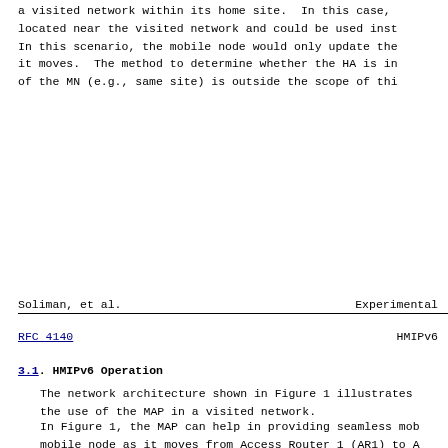a visited network within its home site.  In this case,
located near the visited network and could be used inst
In this scenario, the mobile node would only update the
it moves.  The method to determine whether the HA is in
of the MN (e.g., same site) is outside the scope of thi
Soliman, et al.                  Experimental
RFC 4140                         HMIPv6
3.1.  HMIPv6 Operation
The network architecture shown in Figure 1 illustrates
the use of the MAP in a visited network.
In Figure 1, the MAP can help in providing seamless mob
mobile node as it moves from Access Router 1 (AR1) to A
(AR2), while communicating with the correspondent node